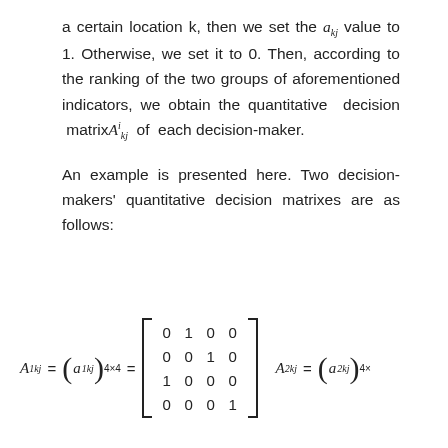a certain location k, then we set the a_kj value to 1. Otherwise, we set it to 0. Then, according to the ranking of the two groups of aforementioned indicators, we obtain the quantitative decision matrix A^i_kj of each decision-maker.

An example is presented here. Two decision-makers' quantitative decision matrixes are as follows: